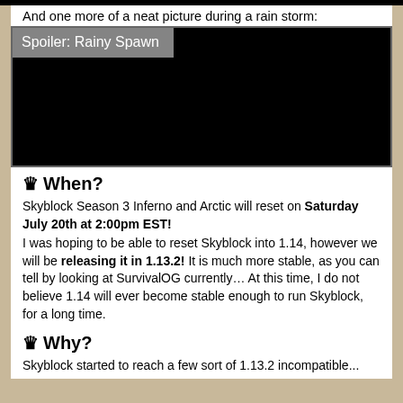And one more of a neat picture during a rain storm:
[Figure (photo): Black image with spoiler label 'Spoiler: Rainy Spawn' — a hidden/spoiler picture of a rainy spawn]
♛ When?
Skyblock Season 3 Inferno and Arctic will reset on Saturday July 20th at 2:00pm EST!
I was hoping to be able to reset Skyblock into 1.14, however we will be releasing it in 1.13.2! It is much more stable, as you can tell by looking at SurvivalOG currently… At this time, I do not believe 1.14 will ever become stable enough to run Skyblock, for a long time.
♛ Why?
Skyblock started to reach a few sort of 1.13.2 incompatible...